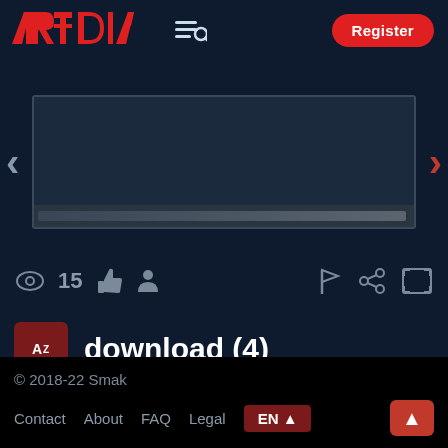[Figure (logo): ARThDIA website logo in red stylized letters]
Register
[Figure (screenshot): Carousel/slideshow area with navigation arrows and progress bar]
15
download (4)
© 2018-22 Smak
Contact  About  FAQ  Legal  EN ▲